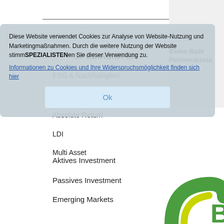SPEZIALISTEN
ESG & Nachhaltigkeit
Aktien
Absolute Return
LDI
Multi Asset
Diese Website verwendet Cookies zur Analyse von Website-Nutzung und Marketingmaßnahmen. Durch die weitere Nutzung der Website stimmen Sie dieser Verwendung zu.
Informationen zu Cookies und Ihre Widerspruchsmöglichkeit finden sich hier
Ok
Baden-Baden Pensionskasse
Aktives Investment
Passives Investment
Emerging Markets
Fixed Income
Corporate & Real Estate Loans
[Figure (logo): Partial green and yellow circular logo with letter B visible at bottom right corner]